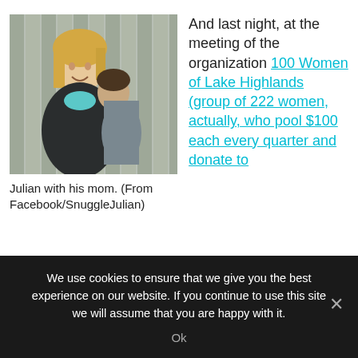[Figure (photo): A woman with blonde hair smiling, holding a child who is resting their head on her shoulder. Background shows a wooden fence.]
Julian with his mom. (From Facebook/SnuggleJulian)
And last night, at the meeting of the organization 100 Women of Lake Highlands (group of 222 women, actually, who pool $100 each every quarter and donate to
We use cookies to ensure that we give you the best experience on our website. If you continue to use this site we will assume that you are happy with it.
Ok